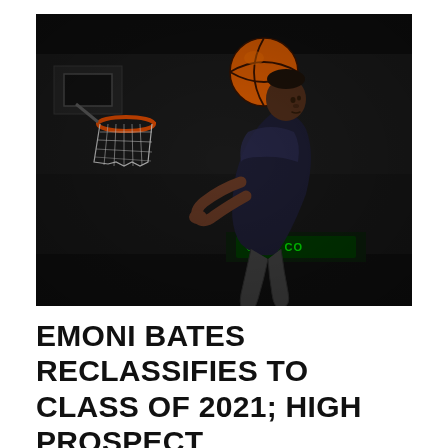[Figure (photo): A basketball player in a dark sleeveless jersey leaping toward a basketball hoop with one arm extended upward holding a basketball, about to dunk or lay it up. The background shows a dark arena with spectators and arena signage including green LED text.]
EMONI BATES RECLASSIFIES TO CLASS OF 2021; HIGH PROSPECT CONTEMPLATING